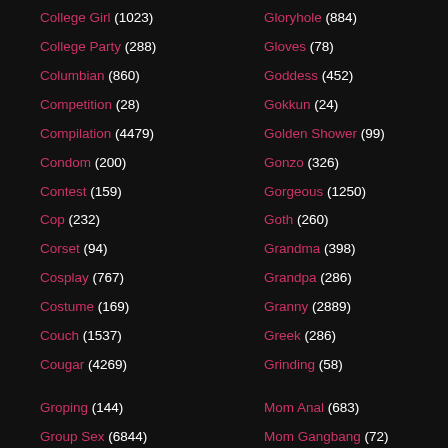College Girl (1023)
College Party (288)
Columbian (860)
Competition (28)
Compilation (4479)
Condom (200)
Contest (159)
Cop (232)
Corset (94)
Cosplay (767)
Costume (169)
Couch (1537)
Cougar (4269)
Groping (144)
Group Sex (6844)
Gloryhole (884)
Gloves (78)
Goddess (452)
Gokkun (24)
Golden Shower (99)
Gonzo (326)
Gorgeous (1250)
Goth (260)
Grandma (398)
Grandpa (286)
Granny (2889)
Greek (286)
Grinding (58)
Mom Anal (683)
Mom Gangbang (72)